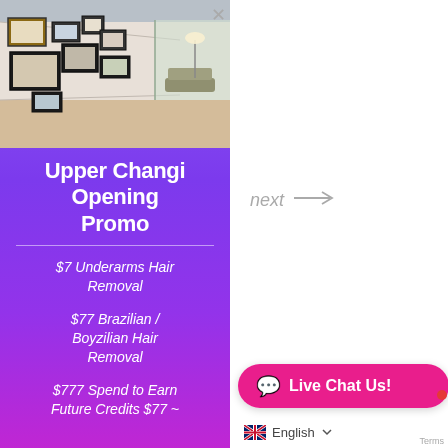[Figure (photo): Interior of a beauty salon hallway with framed artworks on the wall, modern furniture visible in the background]
Upper Changi Opening Promo
$7 Underarms Hair Removal
$77 Brazilian / Boyzilian Hair Removal
$777 Spend to Earn Future Credits $77 ~
next →
Live Chat Us!
English